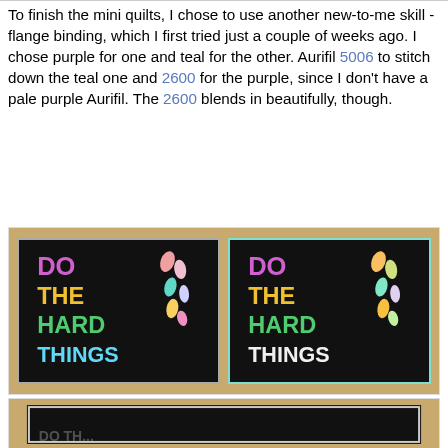To finish the mini quilts, I chose to use another new-to-me skill - flange binding, which I first tried just a couple of weeks ago. I chose purple for one and teal for the other. Aurifil 5006 to stitch down the teal one and 2600 for the purple, since I don't have a pale purple Aurifil. The 2600 blends in beautifully, though.
[Figure (photo): Two mini quilts side by side on a wooden surface. Both have black backgrounds with colorful decorative teardrop shapes and text reading 'DO THE HARD THINGS' in multicolored letters. The left quilt has a purple/gray border and the right has a teal border.]
[Figure (photo): Partial view of a third mini quilt, showing the black background with a white/silver border, text partially visible at the bottom.]